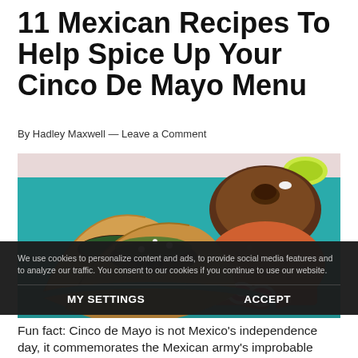11 Mexican Recipes To Help Spice Up Your Cinco De Mayo Menu
By Hadley Maxwell — Leave a Comment
[Figure (photo): Photo of Mexican tacos on a teal plate with rice, beans, and sliced radishes]
We use cookies to personalize content and ads, to provide social media features and to analyze our traffic. You consent to our cookies if you continue to use our website.
MY SETTINGS
ACCEPT
Fun fact: Cinco de Mayo is not Mexico's independence day, it commemorates the Mexican army's improbable